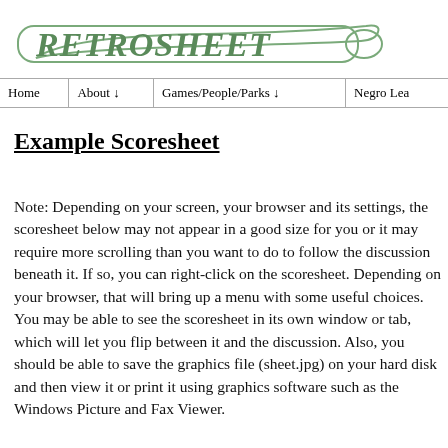[Figure (logo): Retrosheet logo with baseball bat outline and italic bold green text 'RETROSHEET']
| Home | About ↓ | Games/People/Parks ↓ | Negro Lea |
| --- | --- | --- | --- |
Example Scoresheet
Note: Depending on your screen, your browser and its settings, the scoresheet below may not appear in a good size for you or it may require more scrolling than you want to do to follow the discussion beneath it. If so, you can right-click on the scoresheet. Depending on your browser, that will bring up a menu with some useful choices. You may be able to see the scoresheet in its own window or tab, which will let you flip between it and the discussion. Also, you should be able to save the graphics file (sheet.jpg) on your hard disk and then view it or print it using graphics software such as the Windows Picture and Fax Viewer.